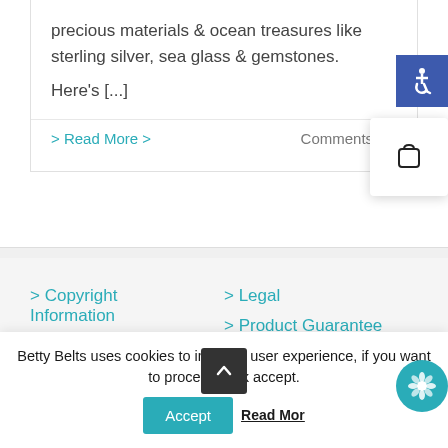precious materials & ocean treasures like sterling silver, sea glass & gemstones.
Here's [...]
> Read More >
Comments Off
[Figure (other): Accessibility icon button (wheelchair symbol) in blue square]
[Figure (other): Shopping cart icon in white popup card]
> Copyright Information
> Legal
> Product Guarantee
Betty Belts uses cookies to improve user experience, if you want to proceed click accept.
[Figure (other): Accept button (teal) and Read More link]
[Figure (other): Scroll to top button (dark gray with up arrow)]
[Figure (other): Flower/chat button (teal circle)]